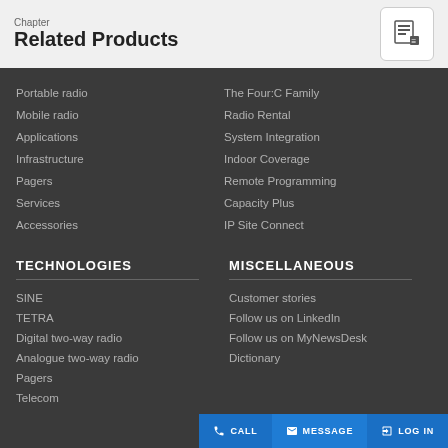Chapter
Related Products
Portable radio
The Four:C Family
Mobile radio
Radio Rental
Applications
System Integration
Infrastructure
Indoor Coverage
Pagers
Remote Programming
Services
Capacity Plus
Accessories
IP Site Connect
TECHNOLOGIES
MISCELLANEOUS
SINE
Customer stories
TETRA
Follow us on LinkedIn
Digital two-way radio
Follow us on MyNewsDesk
Analogue two-way radio
Dictionary
Pagers
Telecom
CALL  MESSAGE  LOG IN